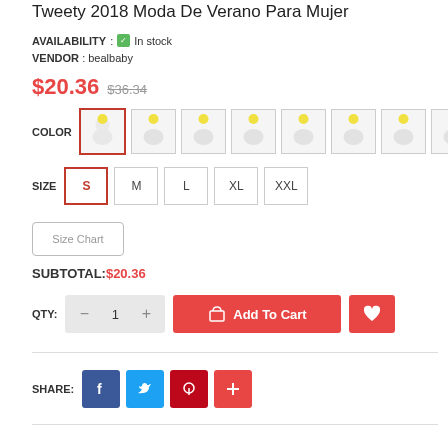Tweety 2018 Moda De Verano Para Mujer
AVAILABILITY : ✔ In stock
VENDOR : bealbaby
$20.36  $36.34
[Figure (other): Color swatches showing 8 t-shirt color options, first one selected with red border]
SIZE  S  M  L  XL  XXL
Size Chart
SUBTOTAL: $20.36
QTY: - 1 +  Add To Cart  ♡
SHARE: f  t  p  +